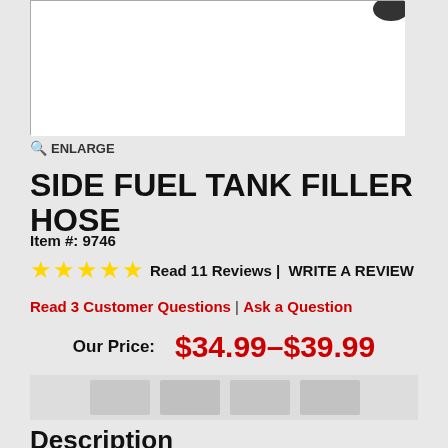[Figure (photo): Product image of Side Fuel Tank Filler Hose shown partially at top of page]
🔍 ENLARGE
SIDE FUEL TANK FILLER HOSE
Item #: 9746
★★★★★  Read 11 Reviews |  WRITE A REVIEW
Read 3 Customer Questions | Ask a Question
Our Price:   $34.99–$39.99
Description
Side Fuel Tank Filler Hose